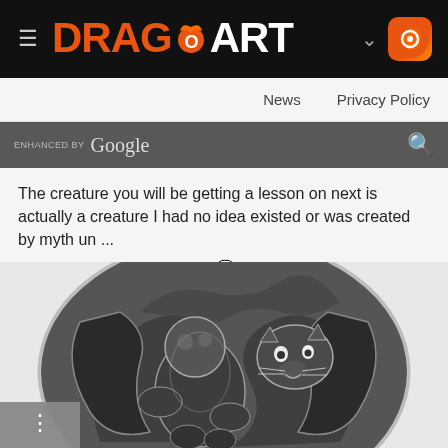DRAGOART
News   Privacy Policy
ENHANCED BY Google
The creature you will be getting a lesson on next is actually a creature I had no idea existed or was created by myth un ...
by Dawn |  22k |   100% |  0 |  2
[Figure (illustration): A dark fantasy illustration of a muscular humanoid creature with a cat-like beast head, large wings, rendered in black and white/grayscale, shown inside an oval frame with swirling dark background.]